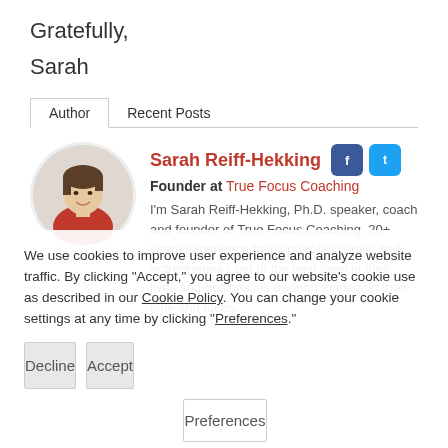Gratefully,
Sarah
Author   Recent Posts
Sarah Reiff-Hekking
Founder at True Focus Coaching
I'm Sarah Reiff-Hekking, Ph.D. speaker, coach and founder of True Focus Coaching. 20+ years experience helping professionals and entrepreneurs get to the next level in their lives and businesses through managing their time and focus.
We use cookies to improve user experience and analyze website traffic. By clicking "Accept," you agree to our website's cookie use as described in our Cookie Policy. You can change your cookie settings at any time by clicking "Preferences."
Decline
Accept
Preferences